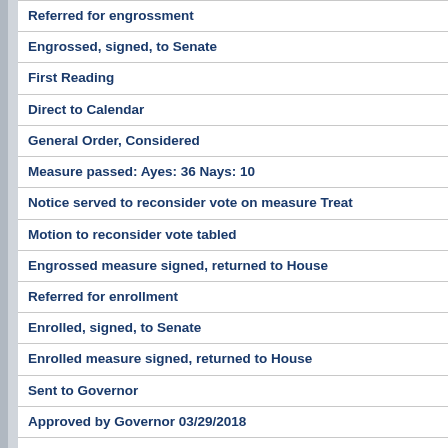Referred for engrossment
Engrossed, signed, to Senate
First Reading
Direct to Calendar
General Order, Considered
Measure passed: Ayes: 36 Nays: 10
Notice served to reconsider vote on measure Treat
Motion to reconsider vote tabled
Engrossed measure signed, returned to House
Referred for enrollment
Enrolled, signed, to Senate
Enrolled measure signed, returned to House
Sent to Governor
Approved by Governor 03/29/2018